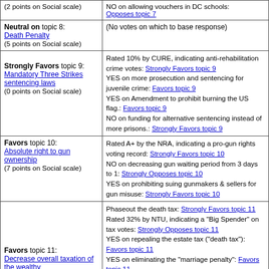| (2 points on Social scale) | NO on allowing vouchers in DC schools: Opposes topic 7 |
| Neutral on topic 8: Death Penalty (5 points on Social scale) | (No votes on which to base response) |
| Strongly Favors topic 9: Mandatory Three Strikes sentencing laws (0 points on Social scale) | Rated 10% by CURE, indicating anti-rehabilitation crime votes: Strongly Favors topic 9 YES on more prosecution and sentencing for juvenile crime: Favors topic 9 YES on Amendment to prohibit burning the US flag.: Favors topic 9 NO on funding for alternative sentencing instead of more prisons.: Strongly Favors topic 9 |
| Favors topic 10: Absolute right to gun ownership (7 points on Social scale) | Rated A+ by the NRA, indicating a pro-gun rights voting record: Strongly Favors topic 10 NO on decreasing gun waiting period from 3 days to 1: Strongly Opposes topic 10 YES on prohibiting suing gunmakers & sellers for gun misuse: Strongly Favors topic 10 |
| Favors topic 11: Decrease overall taxation of the wealthy (7 points on Economic scale) | Phaseout the death tax: Strongly Favors topic 11 Rated 32% by NTU, indicating a "Big Spender" on tax votes: Strongly Opposes topic 11 YES on repealing the estate tax ("death tax"): Favors topic 11 YES on eliminating the "marriage penalty": Favors topic 11 YES on $46 billion in tax cuts for small business: Favors topic 11 YES on Tax Cut Package of $958B over 10 |